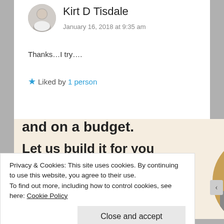Kirt D Tisdale
January 16, 2018 at 9:35 am
Thanks…I try….
Liked by 1 person
[Figure (infographic): WordPress advertisement banner showing partial text 'and on a budget.', 'Let us build it for you', a 'Let's get started' button, WordPress logo, and a circular photo of hands typing on a laptop.]
Privacy & Cookies: This site uses cookies. By continuing to use this website, you agree to their use.
To find out more, including how to control cookies, see here: Cookie Policy
Close and accept